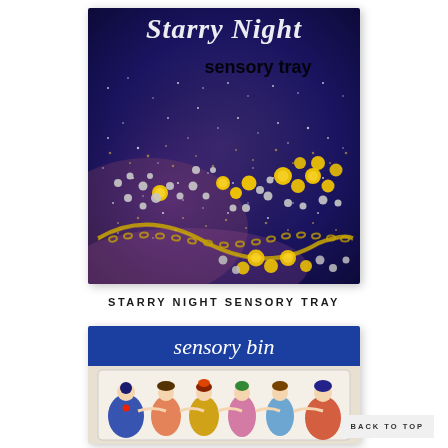[Figure (photo): Starry Night sensory tray — a blue glittery tray with yellow and silver beads and gold chain arranged in swirling patterns, with text 'Starry Night sensory tray' overlaid]
STARRY NIGHT SENSORY TRAY
[Figure (photo): Sensory bin with colorful small finger puppet dolls arranged in a clear plastic bin, with a blue banner at top reading 'sensory bin']
BACK TO TOP